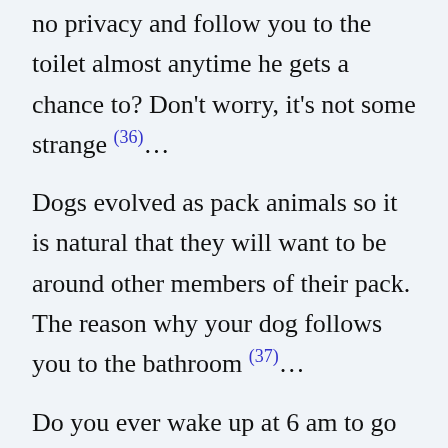no privacy and follow you to the toilet almost anytime he gets a chance to? Don't worry, it's not some strange (36)…
Dogs evolved as pack animals so it is natural that they will want to be around other members of their pack. The reason why your dog follows you to the bathroom (37)…
Do you ever wake up at 6 am to go to the bathroom only to find your dog However, the shadowing behavior does not always mean they like being